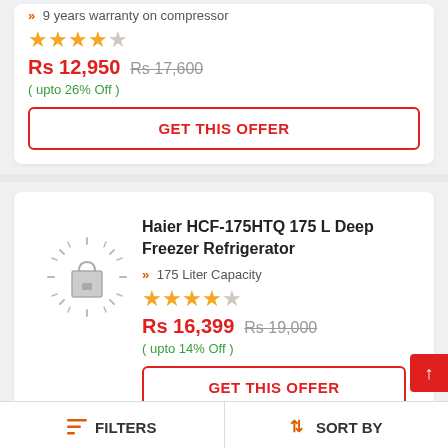9 years warranty on compressor
★★★★☆ (4 stars out of 5)
Rs 12,950  Rs 17,600  ( upto 26% Off )
GET THIS OFFER
Haier HCF-175HTQ 175 L Deep Freezer Refrigerator
175 Liter Capacity
★★★★☆ (4 stars out of 5)
Rs 16,399  Rs 19,000  ( upto 14% Off )
GET THIS OFFER
FILTERS   SORT BY